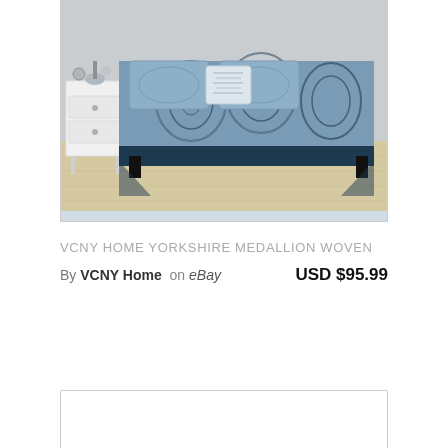[Figure (photo): Product photo of a bed with VCNY Home Yorkshire Medallion Woven comforter set in navy blue and white paisley/medallion pattern, with matching pillows and white nightstand on the left side.]
VCNY HOME YORKSHIRE MEDALLION WOVEN
By VCNY Home on eBay  USD $95.99